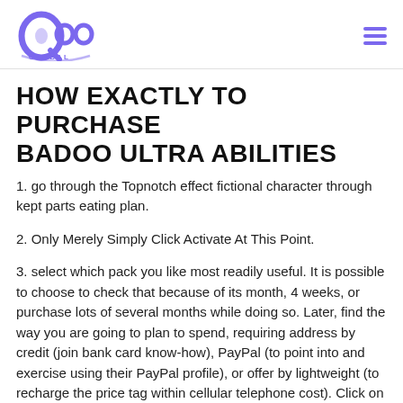QOO Global logo and navigation
HOW EXACTLY TO PURCHASE BADOO ULTRA ABILITIES
1. go through the Topnotch effect fictional character through kept parts eating plan.
2. Only Merely Simply Click Activate At This Point.
3. select which pack you like most readily useful. It is possible to choose to check that because of its month, 4 weeks, or purchase lots of several months while doing so. Later, find the way you are going to plan to spend, requiring address by credit (join bank card know-how), PayPal (to point into and exercise using their PayPal profile), or offer by lightweight (to recharge the price tag within cellular telephone cost). Click on the green change inside base if